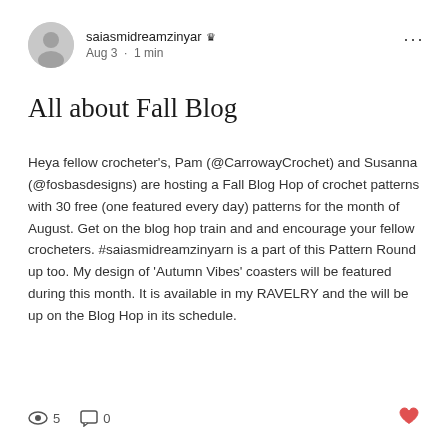saiasmidreamzinyar ♛ Aug 3 · 1 min
All about Fall Blog
Heya fellow crocheter's, Pam (@CarrowayCrochet) and Susanna (@fosbasdesigns) are hosting a Fall Blog Hop of crochet patterns with 30 free (one featured every day) patterns for the month of August. Get on the blog hop train and and encourage your fellow crocheters. #saiasmidreamzinyarn is a part of this Pattern Round up too. My design of 'Autumn Vibes' coasters will be featured during this month. It is available in my RAVELRY and the will be up on the Blog Hop in its schedule.
5 views · 0 comments · heart